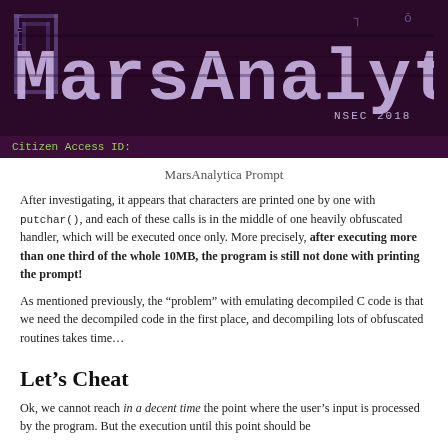[Figure (screenshot): MarsAnalytica banner image with stylized pixelated/glitched logo text on dark purple background. Bottom bar shows 'Citizen Access ID:' in green monospace text. NSEC 2018 label in lower right.]
MarsAnalytica Prompt
After investigating, it appears that characters are printed one by one with putchar(), and each of these calls is in the middle of one heavily obfuscated handler, which will be executed once only. More precisely, after executing more than one third of the whole 10MB, the program is still not done with printing the prompt!
As mentioned previously, the "problem" with emulating decompiled C code is that we need the decompiled code in the first place, and decompiling lots of obfuscated routines takes time...
Let's Cheat
Ok, we cannot reach in a decent time the point where the user's input is processed by the program. But the execution until this point should be